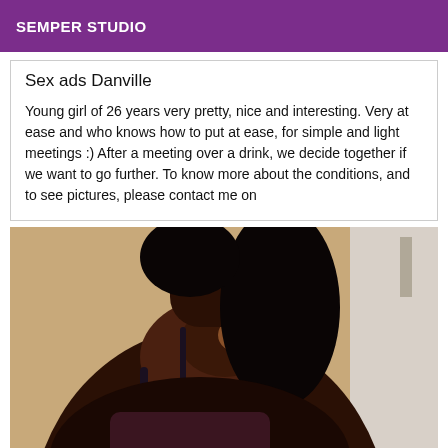SEMPER STUDIO
Sex ads Danville
Young girl of 26 years very pretty, nice and interesting. Very at ease and who knows how to put at ease, for simple and light meetings :) After a meeting over a drink, we decide together if we want to go further. To know more about the conditions, and to see pictures, please contact me on
[Figure (photo): Photo of a dark-skinned woman wearing a dark bikini top, photographed from the back/side angle showing shoulders and upper body, with beige curtain and white cabinet in background.]